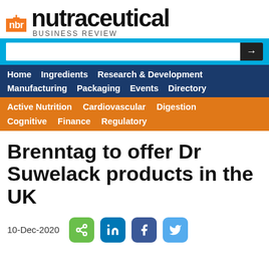[Figure (logo): Nutraceutical Business Review logo with orange nbr+ box and large black brand text]
[Figure (screenshot): Website navigation bar with search box, blue nav menu (Home, Ingredients, Research & Development, Manufacturing, Packaging, Events, Directory) and orange nav menu (Active Nutrition, Cardiovascular, Digestion, Cognitive, Finance, Regulatory)]
Brenntag to offer Dr Suwelack products in the UK
10-Dec-2020